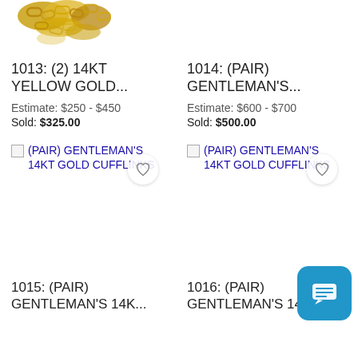[Figure (photo): Partial gold chain image at top left, cropped]
1013: (2) 14KT YELLOW GOLD...
Estimate: $250 - $450
Sold: $325.00
1014: (PAIR) GENTLEMAN'S...
Estimate: $600 - $700
Sold: $500.00
[Figure (screenshot): Broken image placeholder with link text: (PAIR) GENTLEMAN'S 14KT GOLD CUFFLINKS and heart button]
[Figure (screenshot): Broken image placeholder with link text: (PAIR) GENTLEMAN'S 14KT GOLD CUFFLINKS and heart button]
1015: (PAIR) GENTLEMAN'S 14K...
1016: (PAIR) GENTLEMAN'S 14K...